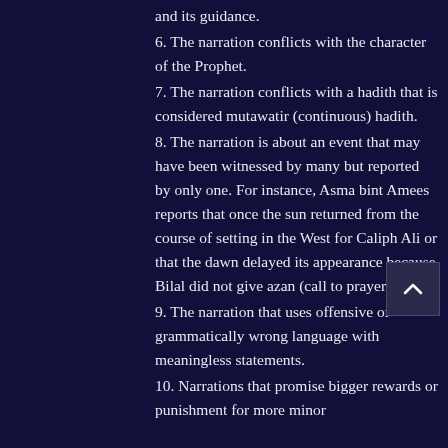and its guidance.
6. The narration conflicts with the character of the Prophet.
7. The narration conflicts with a hadith that is considered mutawatir (continuous) hadith.
8. The narration is about an event that may have been witnessed by many but reported by only one. For instance, Asma bint Amees reports that once the sun returned from the course of setting in the West for Caliph Ali or that the dawn delayed its appearance because Bilal did not give azan (call to prayer).
9. The narration that uses offensive or grammatically wrong language with meaningless statements.
10. Narrations that promise bigger rewards or punishment for more minor